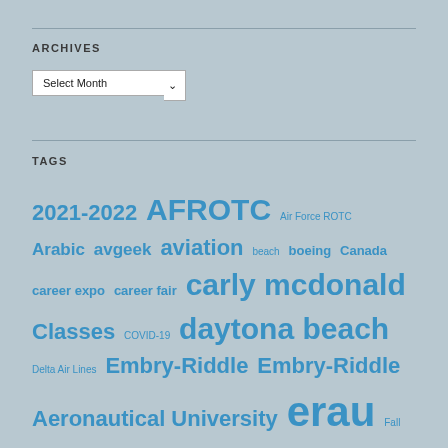ARCHIVES
Select Month (dropdown)
TAGS
2021-2022 AFROTC Air Force ROTC Arabic avgeek aviation beach boeing Canada career expo career fair carly mcdonald Classes COVID-19 daytona beach Delta Air Lines Embry-Riddle Embry-Riddle Aeronautical University erau Fall 2021 Fall Break Finals florida Flying intern Internship Montreal nasa Photography